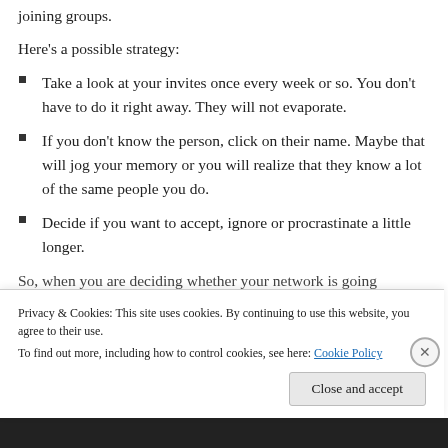joining groups.
Here's a possible strategy:
Take a look at your invites once every week or so. You don't have to do it right away. They will not evaporate.
If you don't know the person, click on their name. Maybe that will jog your memory or you will realize that they know a lot of the same people you do.
Decide if you want to accept, ignore or procrastinate a little longer.
So, when you are deciding whether your network is going...
Privacy & Cookies: This site uses cookies. By continuing to use this website, you agree to their use. To find out more, including how to control cookies, see here: Cookie Policy